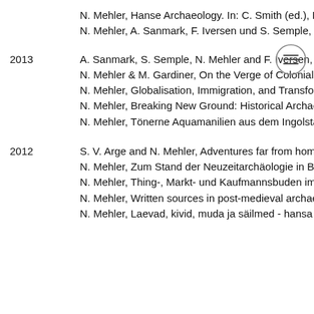N. Mehler, Hanse Archaeology. In: C. Smith (ed.), En
N. Mehler, A. Sanmark, F. Iversen und S. Semple, Ge
2013  A. Sanmark, S. Semple, N. Mehler and F. Iversen, De
N. Mehler & M. Gardiner, On the Verge of Colonialism
N. Mehler, Globalisation, Immigration, and Transform
N. Mehler, Breaking New Ground: Historical Archaeo
N. Mehler, Tönerne Aquamanilien aus dem Ingolstäd
2012  S. V. Arge and N. Mehler, Adventures far from home
N. Mehler, Zum Stand der Neuzeitarchäologie in Bay
N. Mehler, Thing-, Markt- und Kaufmannsbuden im v
N. Mehler, Written sources in post-medieval archaeo
N. Mehler, Laevad, kivid, muda ja säilmed - hansa ar